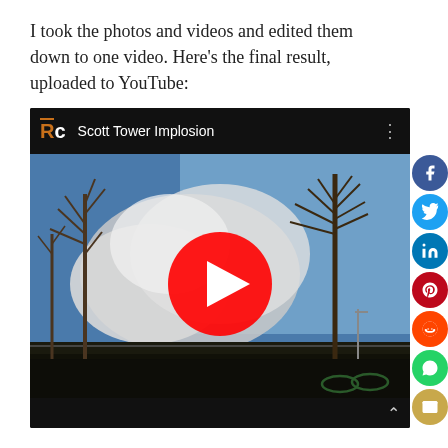I took the photos and videos and edited them down to one video. Here's the final result, uploaded to YouTube:
[Figure (screenshot): Embedded YouTube video thumbnail showing 'Scott Tower Implosion' — an outdoor scene with bare trees, blue sky, dust cloud from building implosion, and the YouTube play button overlay. The video player has a dark top bar with an RC logo and title, and a dark bottom bar with navigation chevron.]